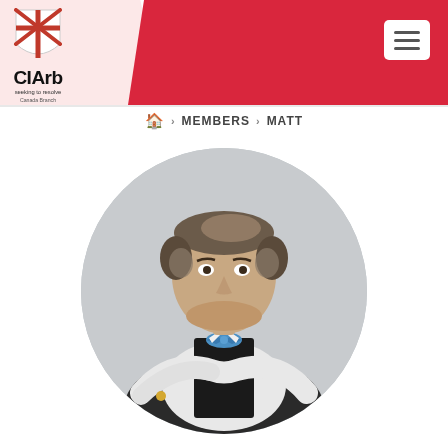[Figure (logo): CIArb Canada Branch logo with shield emblem, text 'CIArb', tagline 'seeking to resolve', 'Canada Branch']
Home > MEMBERS > MATT
[Figure (photo): Circular profile photo of a middle-aged man with thinning grey-brown hair, wearing a white shirt, black vest, and blue bow tie, with arms crossed, against a grey background.]